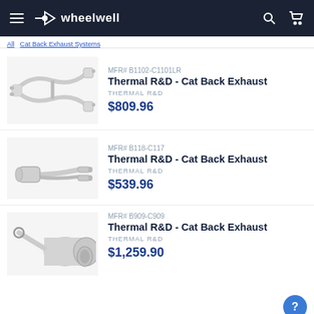wheelwell
MFR# B1102-C1101LR
Thermal R&D - Cat Back Exhaust
THERMAL R&D
$809.96
MFR# B118-C117
Thermal R&D - Cat Back Exhaust
THERMAL R&D
$539.96
MFR# B909-C909
Thermal R&D - Cat Back Exhaust
THERMAL R&D
$1,259.90